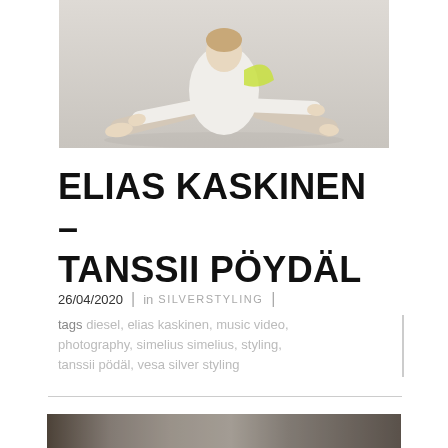[Figure (photo): A person in white clothing sitting on the floor in a dance/stretch pose against a light grey background, with a yellow-green element on their back.]
ELIAS KASKINEN – TANSSII PÖYDÄL
26/04/2020  |  in SILVERSTYLING  |
tags diesel, elias kaskinen, music video, photography, simelius simelius, styling, tanssii pödäl, vesa silver styling
[Figure (photo): Partial bottom strip of another photo, showing dark tones, cropped at the bottom of the page.]